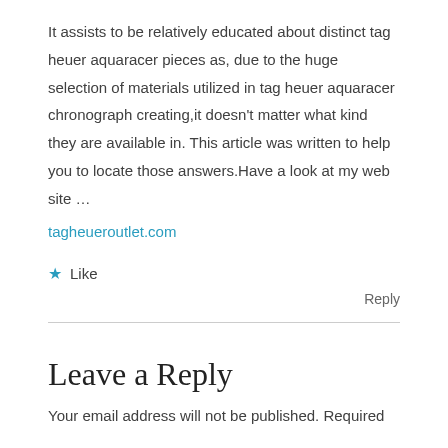It assists to be relatively educated about distinct tag heuer aquaracer pieces as, due to the huge selection of materials utilized in tag heuer aquaracer chronograph creating,it doesn't matter what kind they are available in. This article was written to help you to locate those answers.Have a look at my web site … tagheueroutlet.com
Like
Reply
Leave a Reply
Your email address will not be published. Required